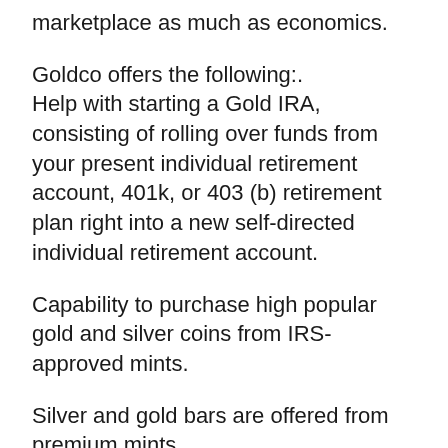marketplace as much as economics.
Goldco offers the following:.
Help with starting a Gold IRA, consisting of rolling over funds from your present individual retirement account, 401k, or 403 (b) retirement plan right into a new self-directed individual retirement account.
Capability to purchase high popular gold and silver coins from IRS-approved mints.
Silver and gold bars are offered from premium mints.
You can purchase coins as well as bars for personal investments outside of your gold individual retirement account.